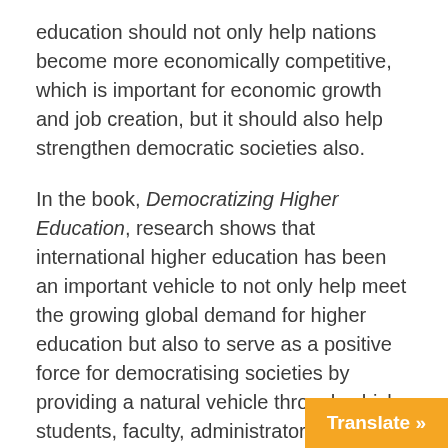education should not only help nations become more economically competitive, which is important for economic growth and job creation, but it should also help strengthen democratic societies also.
In the book, Democratizing Higher Education, research shows that international higher education has been an important vehicle to not only help meet the growing global demand for higher education but also to serve as a positive force for democratising societies by providing a natural vehicle through which students, faculty, administrators and others increase their intercultural understanding and cooperation.
The UNESCO Universal Declaration o